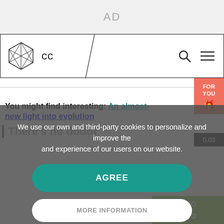AD
[Figure (logo): CC website logo with geometric polyhedron icon and 'CC' text, navigation bar with search and menu icons]
We use our own and third-party cookies to personalize and improve the and experience of our users on our website.
AGREE
MORE INFORMATION
You might find interesting: An almost-new light into evolution
There's no doubt
FOR YOU
0.03
19
Veces compartido